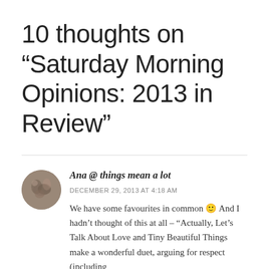10 thoughts on “Saturday Morning Opinions: 2013 in Review”
Ana @ things mean a lot
DECEMBER 29, 2013 AT 4:18 AM
We have some favourites in common 🙂 And I hadn’t thought of this at all – “Actually, Let’s Talk About Love and Tiny Beautiful Things make a wonderful duet, arguing for respect (including